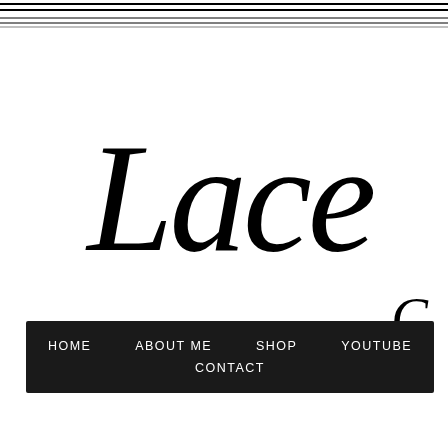[Figure (logo): Header with multiple horizontal lines at the top of the page]
Lace
C
HOME   ABOUT ME   SHOP   YOUTUBE   CONTACT